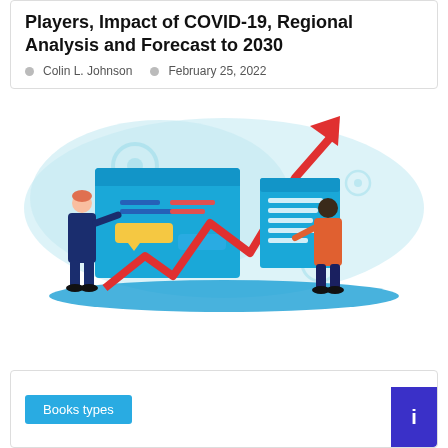Players, Impact of COVID-19, Regional Analysis and Forecast to 2030
Colin L. Johnson   February 25, 2022
[Figure (illustration): Business illustration showing two professionals with data dashboards and a red zigzag growth arrow chart. Light teal cloud background with gear icons. Left figure in navy suit pointing at a browser window UI. Right figure in orange shirt holding a tablet next to a large upward-trending red arrow.]
Books types